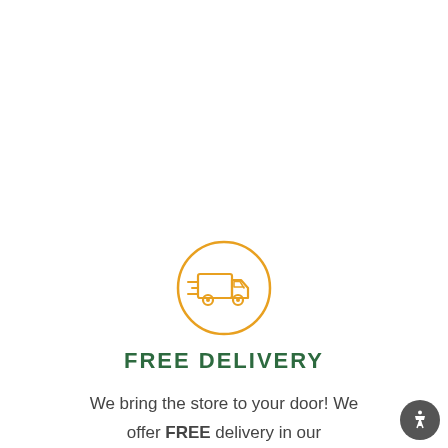[Figure (illustration): A circular orange-outlined icon containing a delivery truck with motion lines, indicating free delivery.]
FREE DELIVERY
We bring the store to your door! We offer FREE delivery in our community so you can stay on